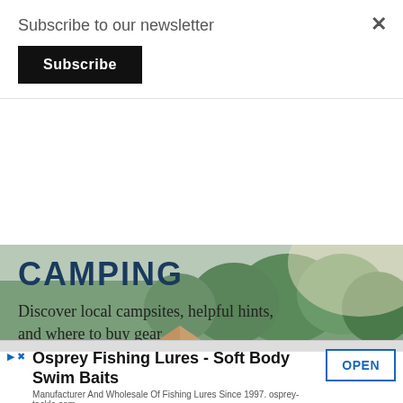Subscribe to our newsletter
Subscribe
×
CAMPING
Discover local campsites, helpful hints, and where to buy gear
[Figure (photo): Outdoor camping scene with an orange tent beside a river surrounded by green forest trees]
HUNTING
[Figure (screenshot): Advertisement for Osprey Fishing Lures - Soft Body Swim Baits]
Osprey Fishing Lures - Soft Body Swim Baits
Manufacturer And Wholesale Of Fishing Lures Since 1997. osprey-tackle.com
OPEN